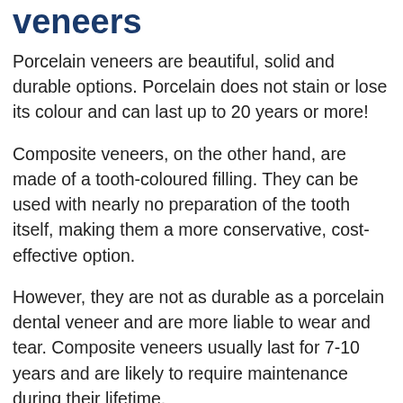veneers
Porcelain veneers are beautiful, solid and durable options. Porcelain does not stain or lose its colour and can last up to 20 years or more!
Composite veneers, on the other hand, are made of a tooth-coloured filling. They can be used with nearly no preparation of the tooth itself, making them a more conservative, cost-effective option.
However, they are not as durable as a porcelain dental veneer and are more liable to wear and tear. Composite veneers usually last for 7-10 years and are likely to require maintenance during their lifetime.